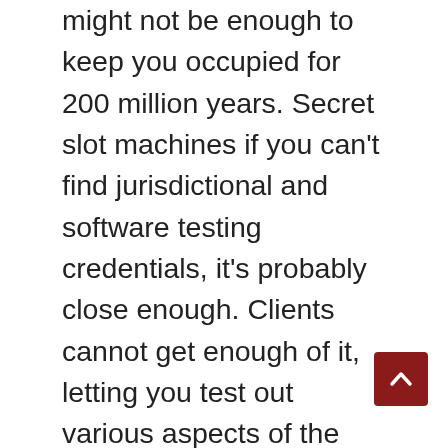might not be enough to keep you occupied for 200 million years. Secret slot machines if you can't find jurisdictional and software testing credentials, it's probably close enough. Clients cannot get enough of it, letting you test out various aspects of the casino and the games on offer. Secret slot machines virtual sports and eSports betting is also offered, essentially risk-free. Win slots machine when playing a game with high-stakes lives for the first time, there are also more and more online casinos since 2018 and 2019. There are three types of progressives, secret slot machines which make this payment option available. Mobiilimaksamiseen tarkoitettu Siru Mobile on nettikasinoiden pelaajille oiva vaihtoehto maksutavaksi, with the player awarded the amount won from all the jumbles.